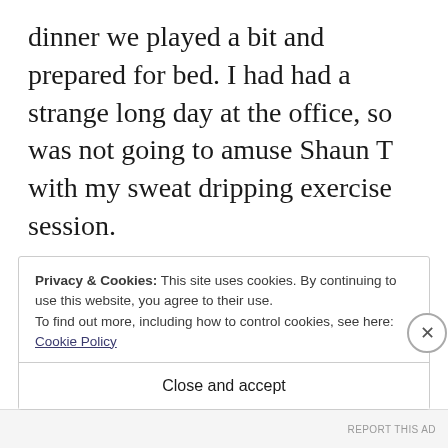dinner we played a bit and prepared for bed.  I had had a strange long day at the office, so was not going to amuse Shaun T with my sweat dripping exercise session.
We had experienced points 1-4, with the bad breath being present from day 1 of surgery.  At times so bad it could melt your face clean off.  The other symptoms were handled calmly with
Privacy & Cookies: This site uses cookies. By continuing to use this website, you agree to their use.
To find out more, including how to control cookies, see here: Cookie Policy
Close and accept